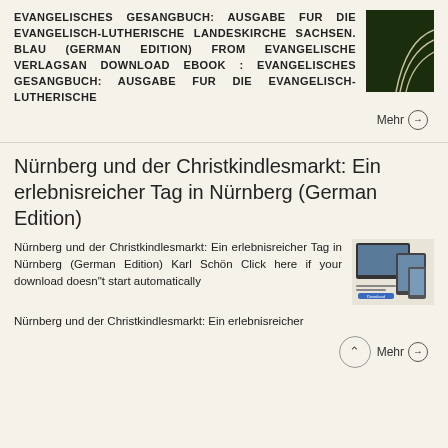EVANGELISCHES GESANGBUCH: AUSGABE FUR DIE EVANGELISCH-LUTHERISCHE LANDESKIRCHE SACHSEN. BLAU (GERMAN EDITION) FROM EVANGELISCHE VERLAGSAN DOWNLOAD EBOOK : EVANGELISCHES GESANGBUCH: AUSGABE FUR DIE EVANGELISCH-LUTHERISCHE
[Figure (photo): Dark green book cover with curved white lines]
Mehr →
Nürnberg und der Christkindlesmarkt: Ein erlebnisreicher Tag in Nürnberg (German Edition)
Nürnberg und der Christkindlesmarkt: Ein erlebnisreicher Tag in Nürnberg (German Edition) Karl Schön Click here if your download doesn"t start automatically Nürnberg und der Christkindlesmarkt: Ein erlebnisreicher
[Figure (screenshot): Screenshot showing digital device displays with book content and a download button]
Mehr →